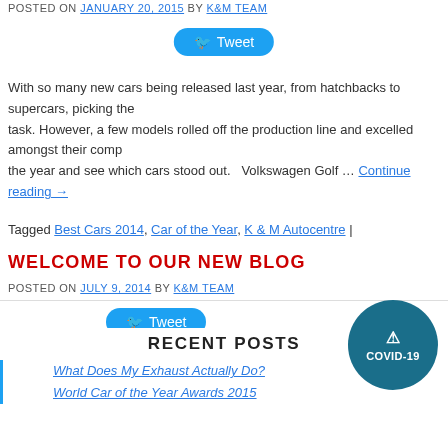POSTED ON JANUARY 20, 2015 BY K&M TEAM
[Figure (other): Twitter Tweet button (blue rounded)]
With so many new cars being released last year, from hatchbacks to supercars, picking the task. However, a few models rolled off the production line and excelled amongst their comp the year and see which cars stood out.   Volkswagen Golf … Continue reading →
Tagged Best Cars 2014, Car of the Year, K & M Autocentre |
WELCOME TO OUR NEW BLOG
POSTED ON JULY 9, 2014 BY K&M TEAM
[Figure (other): Twitter Tweet button (blue rounded)]
K&M Autocentre are thrilled to announce that we have started blogging! As part of our dedic have decided to use this space to share as much with you as possible! We'll be blogging ab from general vehicle maintenance to top tips and … Continue reading→
[Figure (other): COVID-19 circular badge in teal]
RECENT POSTS
What Does My Exhaust Actually Do?
World Car of the Year Awards 2015